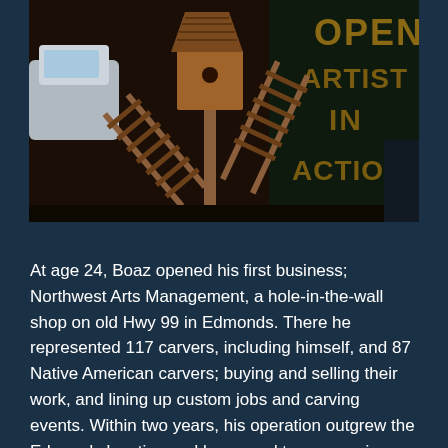[Figure (photo): Photograph of wooden carved birdhouses and craft items on display outdoors, with a dark sign in background reading 'OPEN ARTIST IN ACTION'. A white car is partially visible on the left.]
At age 24, Boaz opened his first business; Northwest Arts Management, a hole-in-the-wall shop on old Hwy 99 in Edmonds. There he represented 117 carvers, including himself, and 87 Native American carvers; buying and selling their work, and lining up custom jobs and carving events. Within two years, his operation outgrew the Edmonds location and he moved to a space in Lynwood, quadruple the size.